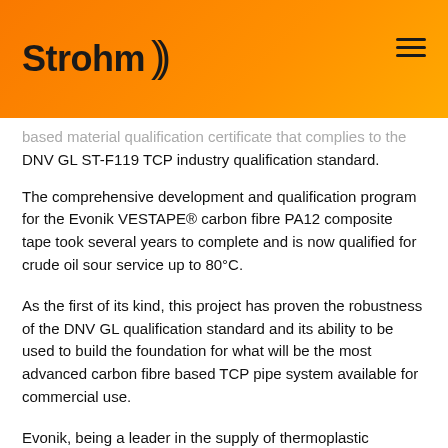Strohm
based material qualification certificate that complies to the DNV GL ST-F119 TCP industry qualification standard.
The comprehensive development and qualification program for the Evonik VESTAPE® carbon fibre PA12 composite tape took several years to complete and is now qualified for crude oil sour service up to 80°C.
As the first of its kind, this project has proven the robustness of the DNV GL qualification standard and its ability to be used to build the foundation for what will be the most advanced carbon fibre based TCP pipe system available for commercial use.
Evonik, being a leader in the supply of thermoplastic materials, have led the way in the development, qualification and supply of carbon fibre PA12 composite tape materials for high end TCP applications. Starting with a blank sheet of paper, there